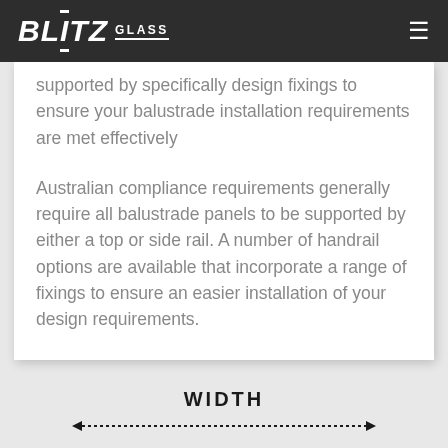BLITZ GLASS
supported by specifically design fixings to ensure your balustrade installation requirements are met effectively
Australian compliance requirements generally require all balustrade panels to be supported by either a top or side rail. A number of handrail options are available that incorporate a range of fixings to ensure an easier installation of your design requirements.
[Figure (other): WIDTH label with double-headed dashed arrow indicating a measurement dimension]